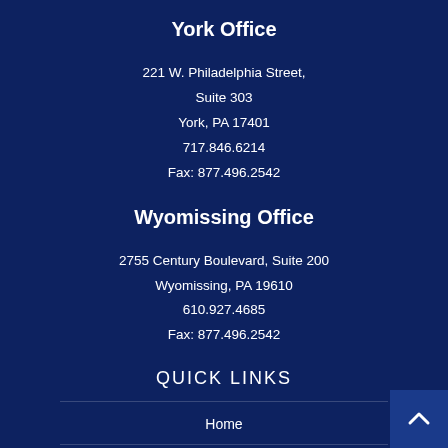York Office
221 W. Philadelphia Street,
Suite 303
York, PA 17401
717.846.6214
Fax: 877.496.2542
Wyomissing Office
2755 Century Boulevard, Suite 200
Wyomissing, PA 19610
610.927.4685
Fax: 877.496.2542
QUICK LINKS
Home
About Domani